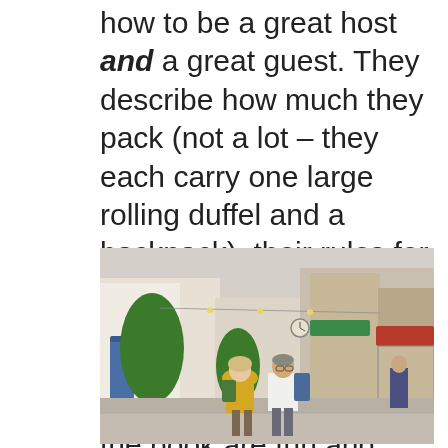how to be a great host and a great guest. They describe how much they pack (not a lot – they each carry one large rolling duffel and a backpack), their rules for staying within weight regulations, and who handles what as they travel. Woven through the book are fun and interesting stories from their travels.
[Figure (photo): Two travelers, an older woman in a yellow jacket and an older man in a white shirt with a backpack, walking along a European street lined with stone buildings, green conical potted trees, and a Coiffeur shop with a red awning.]